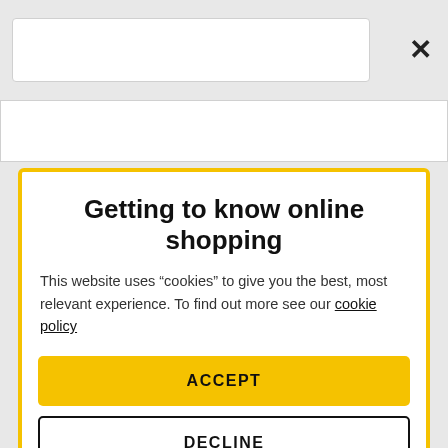[Figure (screenshot): Top navigation bar area with white search box and X close button]
Getting to know online shopping
This website uses “cookies” to give you the best, most relevant experience. To find out more see our cookie policy
ACCEPT
DECLINE